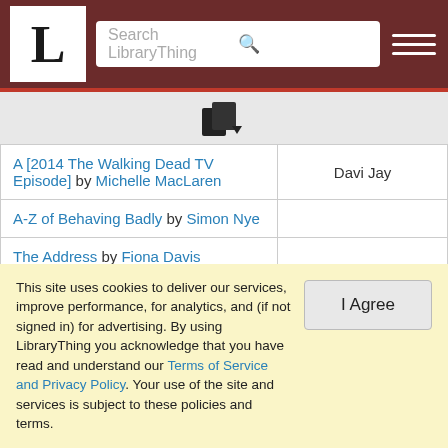LibraryThing header with logo L, search bar, and hamburger menu
| Book | User |
| --- | --- |
| A [2014 The Walking Dead TV Episode] by Michelle MacLaren | Davi Jay |
| A-Z of Behaving Badly by Simon Nye |  |
| The Address by Fiona Davis |  |
| Adventure by Quinn Ward |  |
| All Consuming by Jaci Burton |  |
| Alone [2014 The Walking Dead TV Episode] by Ernest Dickerson | Davi Jay |
This site uses cookies to deliver our services, improve performance, for analytics, and (if not signed in) for advertising. By using LibraryThing you acknowledge that you have read and understand our Terms of Service and Privacy Policy. Your use of the site and services is subject to these policies and terms.